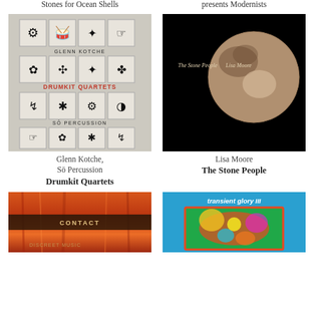Stones for Ocean Shells
presents Modernists
[Figure (photo): Album cover for Glenn Kotche and Sō Percussion – Drumkit Quartets. Grid of black pictogram icons on grey/white background with text 'GLENN KOTCHE', 'DRUMKIT QUARTETS', 'SŌ PERCUSSION'.]
[Figure (photo): Album cover for Lisa Moore – The Stone People. Image of Pluto (dwarf planet) on black background with text 'The Stone People Lisa Moore'.]
Glenn Kotche,
Sō Percussion
Drumkit Quartets
Lisa Moore
The Stone People
[Figure (photo): Album cover: CONTACT / DISCREET MUSIC, orange and fiery background with dark horizontal band.]
[Figure (photo): Album cover: transient glory III, blue background with colorful swirling folk-art style painting inside a frame.]